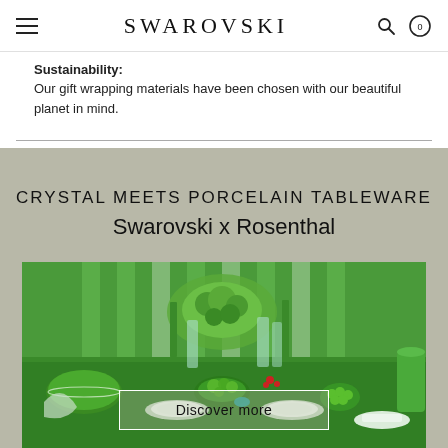SWAROVSKI
Sustainability:
Our gift wrapping materials have been chosen with our beautiful planet in mind.
CRYSTAL MEETS PORCELAIN TABLEWARE
Swarovski x Rosenthal
[Figure (photo): Green-themed table setting with porcelain tableware, crystal glassware, green flowers and decorations for Swarovski x Rosenthal collaboration]
Discover more